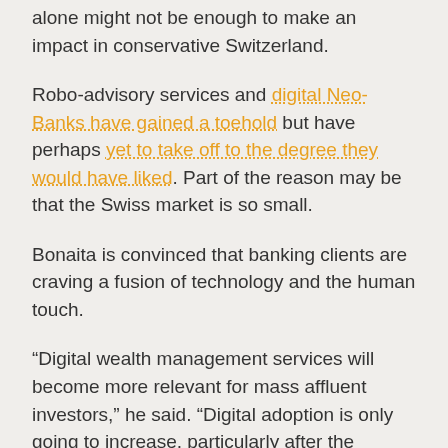alone might not be enough to make an impact in conservative Switzerland.
Robo-advisory services and digital Neo-Banks have gained a toehold but have perhaps yet to take off to the degree they would have liked. Part of the reason may be that the Swiss market is so small.
Bonaita is convinced that banking clients are craving a fusion of technology and the human touch.
“Digital wealth management services will become more relevant for mass affluent investors,” he said. “Digital adoption is only going to increase, particularly after the pandemic. But that should not exclude interactions with humans and their expertise. Client needs cannot be met with either purely technology-driven services or human-based banking.”